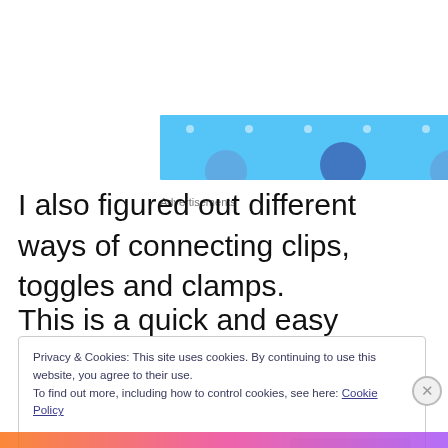[Figure (other): Advertisement banner with light blue background, decorative dots and circles]
I also figured out different ways of connecting clips, toggles and clamps.
This is a quick and easy project and would make a great gift!
Privacy & Cookies: This site uses cookies. By continuing to use this website, you agree to their use.
To find out more, including how to control cookies, see here: Cookie Policy

Close and accept